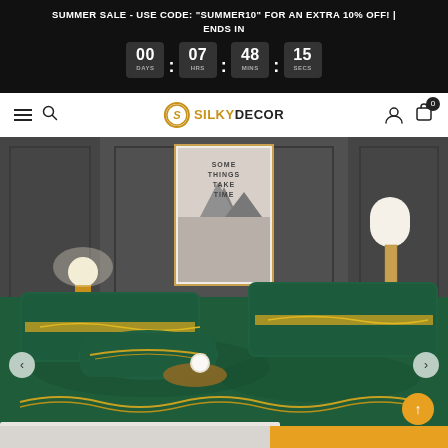SUMMER SALE - USE CODE: "SUMMER10" FOR AN EXTRA 10% OFF! | ENDS IN
00 DAYS  07 HRS  48 MINS  15 SECS
SILKYDECOR — navigation bar with hamburger, search, logo, account, cart (0)
[Figure (photo): Luxury dark green velvet bedding set with gold embroidery on a styled bedroom bed, with side lamps, a framed mountain artwork, and decorative pillows. Navigation arrows visible on left and right sides. Scroll-to-top button (orange) in bottom-right.]